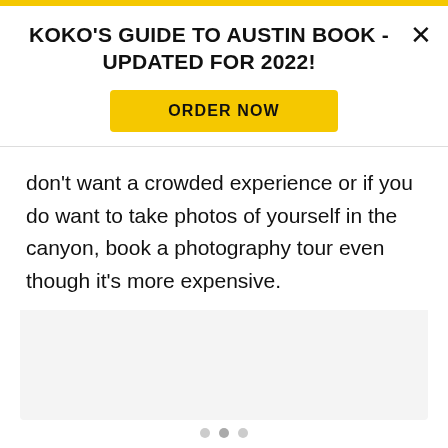KOKO'S GUIDE TO AUSTIN BOOK - UPDATED FOR 2022!
ORDER NOW
don't want a crowded experience or if you do want to take photos of yourself in the canyon, book a photography tour even though it's more expensive.
[Figure (other): Image placeholder area (light gray rectangle), with three pagination dots below]